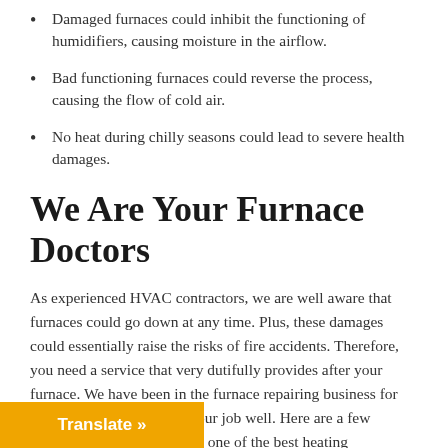Damaged furnaces could inhibit the functioning of humidifiers, causing moisture in the airflow.
Bad functioning furnaces could reverse the process, causing the flow of cold air.
No heat during chilly seasons could lead to severe health damages.
We Are Your Furnace Doctors
As experienced HVAC contractors, we are well aware that furnaces could go down at any time. Plus, these damages could essentially raise the risks of fire accidents. Therefore, you need a service that very dutifully provides after your furnace. We have been in the furnace repairing business for years, and hence we know our job well. Here are a few enlisted reasons why we are one of the best heating contractors for HVAC rnia.
Translate »